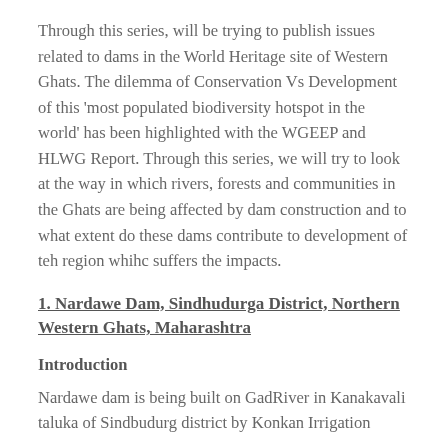Through this series,  will be trying to publish issues related to dams in the World Heritage site of Western Ghats. The dilemma of Conservation Vs Development of this 'most populated biodiversity hotspot in the world' has been highlighted with the WGEEP and HLWG Report. Through this series, we will try to look at the way in which rivers, forests and communities in the Ghats are being affected by dam construction and to what extent do these dams contribute to development of teh region whihc suffers the impacts.
1. Nardawe Dam, Sindhudurga District, Northern Western Ghats, Maharashtra
Introduction
Nardawe dam is being built on GadRiver in Kanakavali taluka of Sindbudurg district by Konkan Irrigation